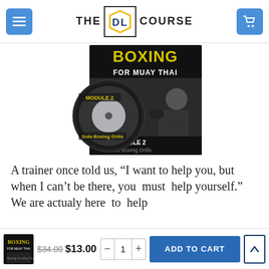THE DL COURSE
[Figure (photo): Boxing for Muay Thai course DVD product image - Module 2 Solo Boxing Drills, showing a bald man in fighting stance wearing a Muay Thai Nation shirt]
A trainer once told us, “I want to help you, but when I can’t be there, you must help yourself.” We are actualy here to help
$34.00  $13.00  -  1  +  ADD TO CART